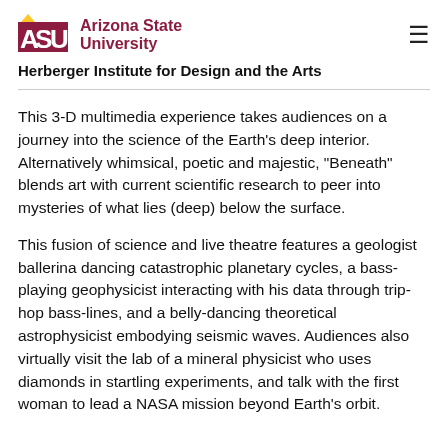ASU Arizona State University
Herberger Institute for Design and the Arts
This 3-D multimedia experience takes audiences on a journey into the science of the Earth's deep interior. Alternatively whimsical, poetic and majestic, "Beneath" blends art with current scientific research to peer into mysteries of what lies (deep) below the surface.
This fusion of science and live theatre features a geologist ballerina dancing catastrophic planetary cycles, a bass-playing geophysicist interacting with his data through trip-hop bass-lines, and a belly-dancing theoretical astrophysicist embodying seismic waves. Audiences also virtually visit the lab of a mineral physicist who uses diamonds in startling experiments, and talk with the first woman to lead a NASA mission beyond Earth's orbit.